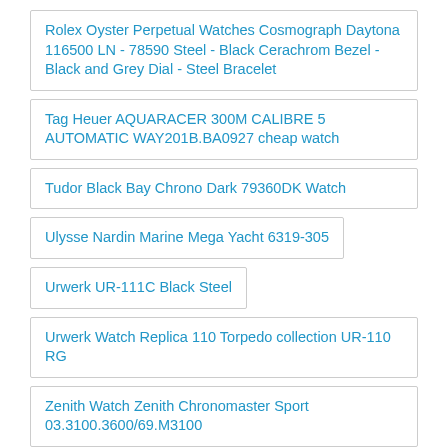Rolex Oyster Perpetual Watches Cosmograph Daytona 116500 LN - 78590 Steel - Black Cerachrom Bezel - Black and Grey Dial - Steel Bracelet
Tag Heuer AQUARACER 300M CALIBRE 5 AUTOMATIC WAY201B.BA0927 cheap watch
Tudor Black Bay Chrono Dark 79360DK Watch
Ulysse Nardin Marine Mega Yacht 6319-305
Urwerk UR-111C Black Steel
Urwerk Watch Replica 110 Torpedo collection UR-110 RG
Zenith Watch Zenith Chronomaster Sport 03.3100.3600/69.M3100